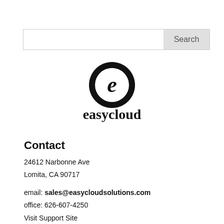[Figure (screenshot): Search bar with input field and Search button]
[Figure (logo): Easycloud logo: black circular icon with letter 'e' inside, followed by bold lowercase text 'easycloud']
Contact
24612 Narbonne Ave
Lomita, CA 90717
email: sales@easycloudsolutions.com
office: 626-607-4250
Visit Support Site